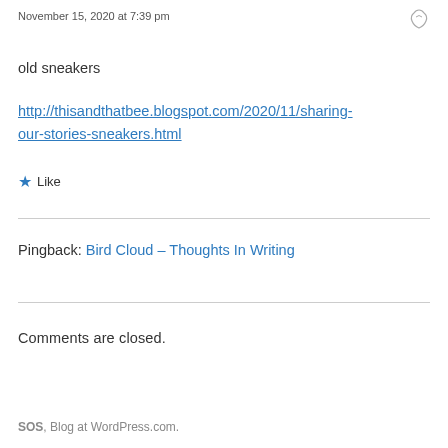November 15, 2020 at 7:39 pm
old sneakers
http://thisandthatbee.blogspot.com/2020/11/sharing-our-stories-sneakers.html
★ Like
Pingback: Bird Cloud – Thoughts In Writing
Comments are closed.
SOS, Blog at WordPress.com.